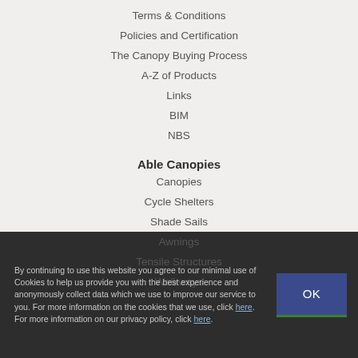Terms & Conditions
Policies and Certification
The Canopy Buying Process
A-Z of Products
Links
BIM
NBS
Able Canopies
Canopies
Cycle Shelters
Shade Sails
Awnings
Tensile Structures
Walkways
By continuing to use this website you agree to our minimal use of Cookies to help us provide you with the best experience and anonymously collect data which we use to improve our service to you. For more information on the cookies that we use, click here. For more information on our privacy policy, click here.